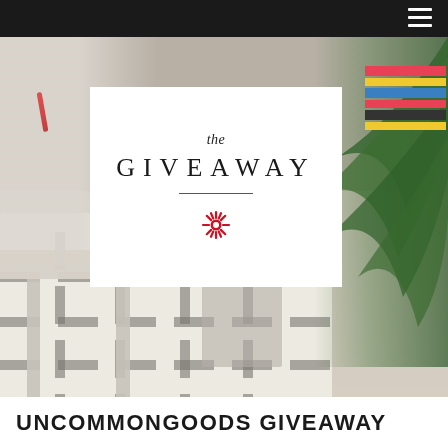[Figure (photo): Blurred interior room photo showing a white desk, a patterned Moroccan-style rug, and a green palm plant on the right. A white card overlay in the center displays 'the GIVEAWAY' with a decorative divider and a red sunburst/snowflake icon.]
UNCOMMONGOODS GIVEAWAY